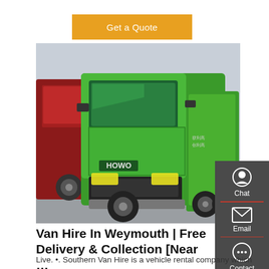[Figure (other): Orange/amber 'Get a Quote' button]
[Figure (photo): A large green HOWO brand dump/tipper truck in a yard, with a red truck visible on the left side]
[Figure (other): Dark grey sidebar with Chat, Email, Contact, and Top icons]
Van Hire In Weymouth | Free Delivery & Collection [Near …
Live. •. Southern Van Hire is a vehicle rental company which delivers van hire to Weymouth, Dorset. We provide well